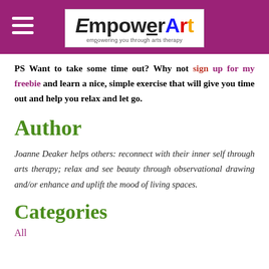EmpowerArt — empowering you through arts therapy
PS Want to take some time out? Why not sign up for my freebie and learn a nice, simple exercise that will give you time out and help you relax and let go.
Author
Joanne Deaker helps others: reconnect with their inner self through arts therapy; relax and see beauty through observational drawing and/or enhance and uplift the mood of living spaces.
Categories
All